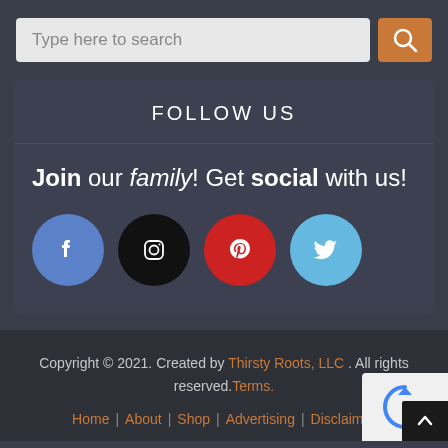[Figure (screenshot): Search bar with text input field showing 'Type here to search' placeholder and an orange search button with magnifying glass icon]
FOLLOW US
Join our family! Get social with us!
[Figure (infographic): Four social media icons: Facebook (blue circle with f), Instagram (black circle with camera icon), Pinterest (red circle with p), Twitter (light blue circle with bird)]
Copyright © 2021. Created by Thirsty Roots, LLC . All rights reserved.Terms.
Home | About | Shop | Advertising | Disclaimer